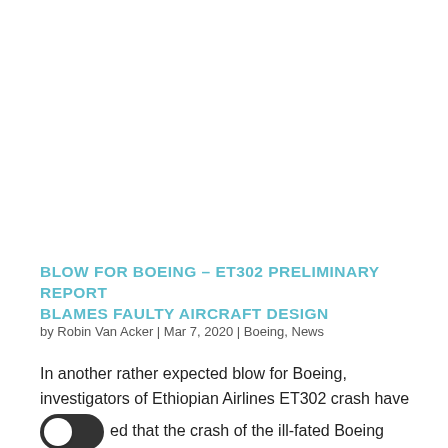BLOW FOR BOEING – ET302 PRELIMINARY REPORT BLAMES FAULTY AIRCRAFT DESIGN
by Robin Van Acker | Mar 7, 2020 | Boeing, News
In another rather expected blow for Boeing, investigators of Ethiopian Airlines ET302 crash have [toggle]ed that the crash of the ill-fated Boeing 737MAX was caused by the aircraft's faulty design,